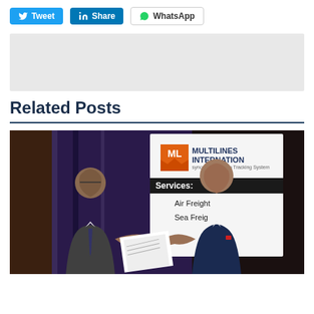[Figure (other): Social media share buttons: Tweet (Twitter, blue), Share (LinkedIn, blue), WhatsApp (white with border)]
[Figure (other): Gray advertisement placeholder rectangle]
Related Posts
[Figure (photo): Two men shaking hands in front of a Multilines International banner listing services: Air Freight, Sea Freight. The banner shows the ML logo in orange and dark blue text.]